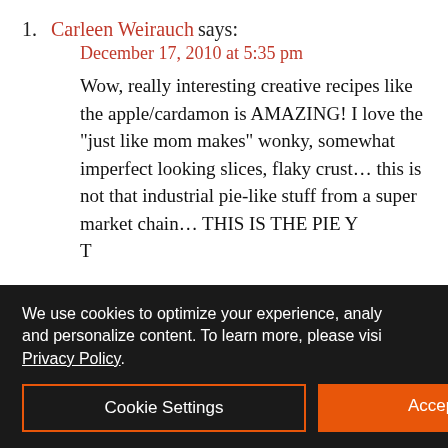1. Carleen Weirauch says:
December 17, 2010 at 5:35 pm
Wow, really interesting creative recipes like the apple/cardamon is AMAZING! I love the “just like mom makes” wonky, somewhat imperfect looking slices, flaky crust… this is not that industrial pie-like stuff from a super market chain… THIS IS THE PIE Y… T… w…
[Figure (logo): Exchange Bank advertisement banner with logo on left (orange EB logo, blue 'Exchange Bank' text, FDIC Member/Equal Lender, NMLS ID 643948) and dark navy right panel with white text 'Community Strong.']
READ PREVIOUS
Braised L
Rosemar
Sometimes thin of coo through ep
We use cookies to optimize your experience, analy… and personalize content. To learn more, please visi… Privacy Policy.
Cookie Settings
Accept Cooki…